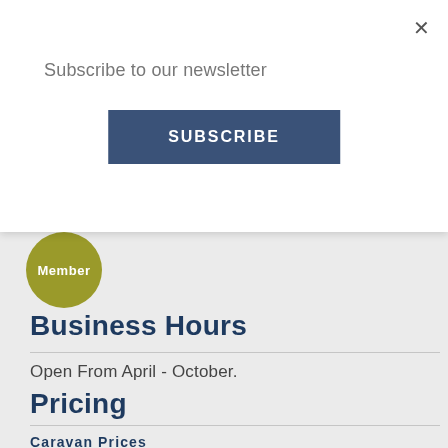Subscribe to our newsletter
SUBSCRIBE
Member
Business Hours
Open From April - October.
Pricing
Caravan Prices
Holiday homes / Price per week: